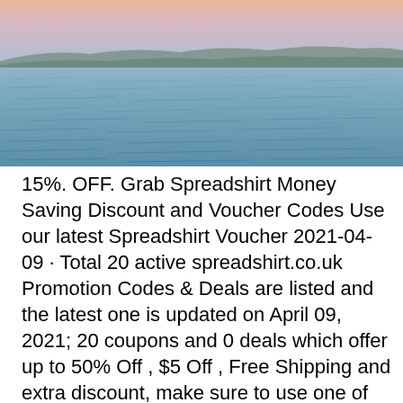[Figure (photo): Landscape photograph of a calm lake or sea at dusk/dawn with soft pink and blue sky and distant hills on the horizon]
15%. OFF. Grab Spreadshirt Money Saving Discount and Voucher Codes Use our latest Spreadshirt Voucher 2021-04-09 · Total 20 active spreadshirt.co.uk Promotion Codes & Deals are listed and the latest one is updated on April 09, 2021; 20 coupons and 0 deals which offer up to 50% Off , $5 Off , Free Shipping and extra discount, make sure to use one of them when you're shopping for spreadshirt.co.uk; Dealscove promise you'll get the best price on products you want. 2 dagar sedan · Total 24 active spreadshirt.com